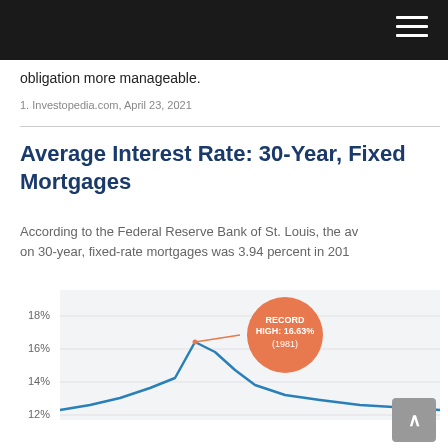obligation more manageable.
1. Investopedia.com, April 23, 2021
Average Interest Rate: 30-Year, Fixed Mortgages
According to the Federal Reserve Bank of St. Louis, the average interest rate on 30-year, fixed-rate mortgages was 3.94 percent in 201...
[Figure (line-chart): Line chart showing average 30-year fixed mortgage interest rates over time. Chart shows a record high of 16.63% in 1981. Y-axis labels visible: 12%, 14%, 16%, 18%. An orange circle callout annotates the peak with 'RECORD HIGH: 16.63% (1981)'.]